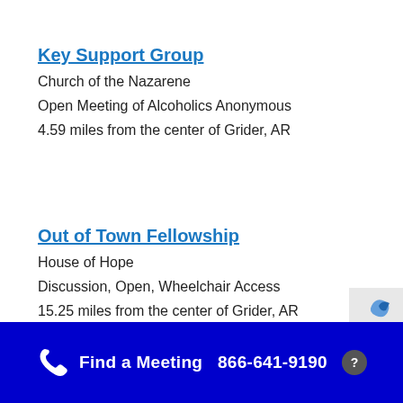Key Support Group
Church of the Nazarene
Open Meeting of Alcoholics Anonymous
4.59 miles from the center of Grider, AR
Out of Town Fellowship
House of Hope
Discussion, Open, Wheelchair Access
15.25 miles from the center of Grider, AR
Find a Meeting  866-641-9190